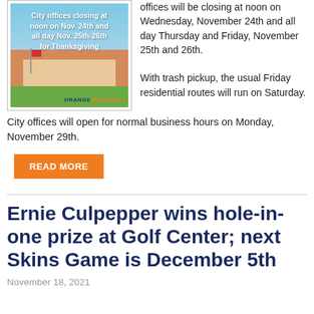[Figure (photo): City of Orange Beach announcement image showing a municipal building with text: 'City offices closing at noon on Nov. 24th and all day Nov. 25th-26th for Thanksgiving' with Orange Beach logo at bottom.]
offices will be closing at noon on Wednesday, November 24th and all day Thursday and Friday, November 25th and 26th.

With trash pickup, the usual Friday residential routes will run on Saturday.
City offices will open for normal business hours on Monday, November 29th.
READ MORE
Ernie Culpepper wins hole-in-one prize at Golf Center; next Skins Game is December 5th
November 18, 2021